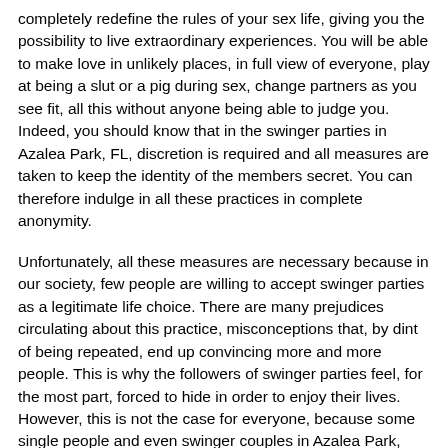completely redefine the rules of your sex life, giving you the possibility to live extraordinary experiences. You will be able to make love in unlikely places, in full view of everyone, play at being a slut or a pig during sex, change partners as you see fit, all this without anyone being able to judge you. Indeed, you should know that in the swinger parties in Azalea Park, FL, discretion is required and all measures are taken to keep the identity of the members secret. You can therefore indulge in all these practices in complete anonymity.
Unfortunately, all these measures are necessary because in our society, few people are willing to accept swinger parties as a legitimate life choice. There are many prejudices circulating about this practice, misconceptions that, by dint of being repeated, end up convincing more and more people. This is why the followers of swinger parties feel, for the most part, forced to hide in order to enjoy their lives. However, this is not the case for everyone, because some single people and even swinger couples in Azalea Park, fully assume their choices and do not hide from them. In any case, it is still a sensitive subject that should only be